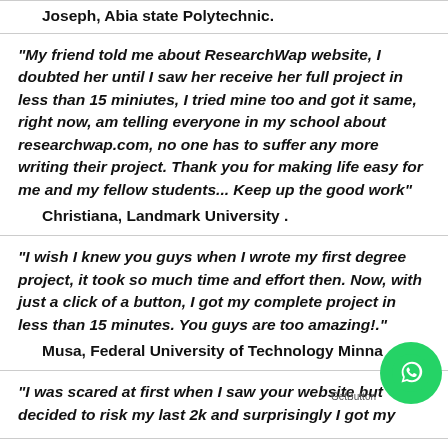Joseph, Abia state Polytechnic.
"My friend told me about ResearchWap website, I doubted her until I saw her receive her full project in less than 15 miniutes, I tried mine too and got it same, right now, am telling everyone in my school about researchwap.com, no one has to suffer any more writing their project. Thank you for making life easy for me and my fellow students... Keep up the good work"
Christiana, Landmark University .
"I wish I knew you guys when I wrote my first degree project, it took so much time and effort then. Now, with just a click of a button, I got my complete project in less than 15 minutes. You guys are too amazing!."
Musa, Federal University of Technology Minna
"I was scared at first when I saw your website but decided to risk my last 2k and surprisingly I got my